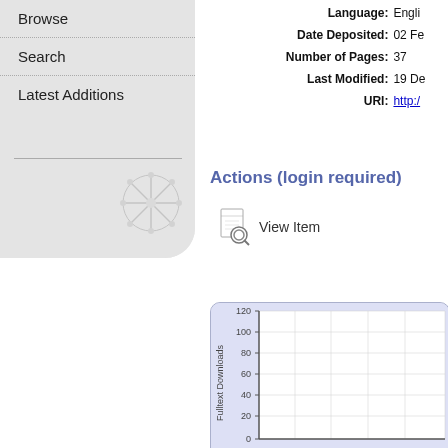Browse
Search
Latest Additions
| Field | Value |
| --- | --- |
| Language: | Engli... |
| Date Deposited: | 02 Fe... |
| Number of Pages: | 37 |
| Last Modified: | 19 De... |
| URI: | http:/... |
Actions (login required)
View Item
[Figure (continuous-plot): A line chart showing Fulltext Downloads over time. Y-axis ranges from 0 to 120 with gridlines at 0, 20, 40, 60, 80, 100, 120. X-axis shows time periods (cut off). The chart area is white with a light lavender/blue background container.]